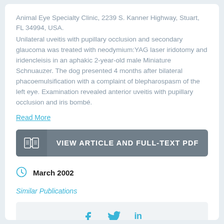Animal Eye Specialty Clinic, 2239 S. Kanner Highway, Stuart, FL 34994, USA.
Unilateral uveitis with pupillary occlusion and secondary glaucoma was treated with neodymium:YAG laser iridotomy and iridencleisis in an aphakic 2-year-old male Miniature Schnuauzer. The dog presented 4 months after bilateral phacoemulsification with a complaint of blepharospasm of the left eye. Examination revealed anterior uveitis with pupillary occlusion and iris bombé.
Read More
[Figure (other): Button: VIEW ARTICLE AND FULL-TEXT PDF with open book icon]
March 2002
Similar Publications
[Figure (other): Social sharing icons: Facebook, Twitter, LinkedIn]